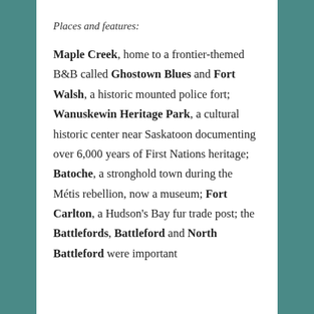Places and features:
Maple Creek, home to a frontier-themed B&B called Ghostown Blues and Fort Walsh, a historic mounted police fort; Wanuskewin Heritage Park, a cultural historic center near Saskatoon documenting over 6,000 years of First Nations heritage; Batoche, a stronghold town during the Métis rebellion, now a museum; Fort Carlton, a Hudson's Bay fur trade post; the Battlefords, Battleford and North Battleford were important